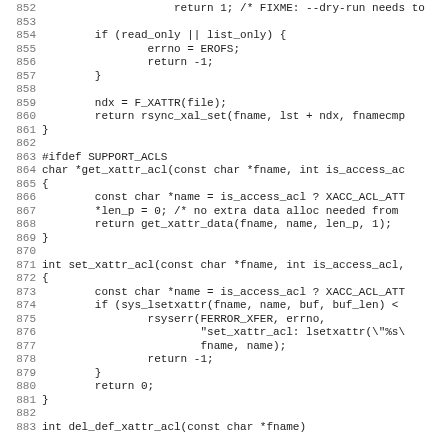Source code listing, lines 852-883, C code for xattr ACL functions